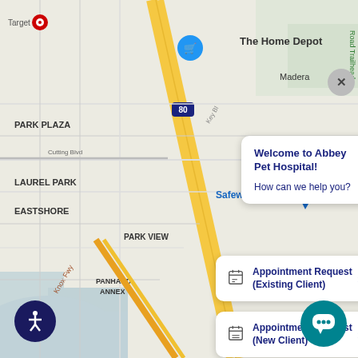[Figure (screenshot): Google Maps view showing area near Richmond/El Cerrito, CA with neighborhoods LAUREL PARK, EASTSHORE, PARK VIEW, PANHAND ANNEX, RICHMOND ANNEX visible. Major roads and I-80/I-580 freeways shown. Map markers for The Home Depot, Safeway, 24 Hour Fit, El Cerrito High visible.]
Welcome to Abbey Pet Hospital!
How can we help you?
Appointment Request (Existing Client)
Appointment Request (New Client)
Something else